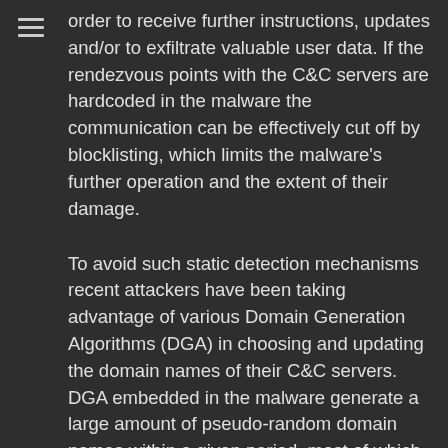[Figure (other): Hamburger menu icon (three horizontal lines)]
order to receive further instructions, updates and/or to exfiltrate valuable user data. If the rendezvous points with the C&C servers are hardcoded in the malware the communication can be effectively cut off by blocklisting, which limits the malware's further operation and the extent of their damage.
To avoid such static detection mechanisms recent attackers have been taking advantage of various Domain Generation Algorithms (DGA) in choosing and updating the domain names of their C&C servers. DGA embedded in the malware generate a large amount of pseudo-random domain names within a given period, most of which are nonexistent. With the same random seed, e.g. time of the day or most popular tweets of the day, the attackers can generate exactly the same list of domain names remotely, among which they will only register a few. The malware will contact some or all of the domains generated by the DGA, giving its opportunity to be